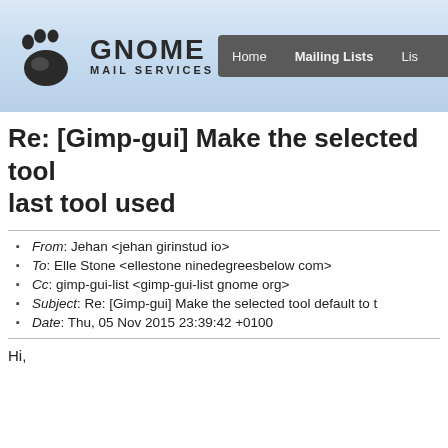[Figure (logo): GNOME Mail Services logo with footprint icon and navigation bar showing Home, Mailing Lists, Lis... links]
Re: [Gimp-gui] Make the selected tool default to last tool used
From: Jehan <jehan girinstud io>
To: Elle Stone <ellestone ninedegreesbelow com>
Cc: gimp-gui-list <gimp-gui-list gnome org>
Subject: Re: [Gimp-gui] Make the selected tool default to t...
Date: Thu, 05 Nov 2015 23:39:42 +0100
Hi,